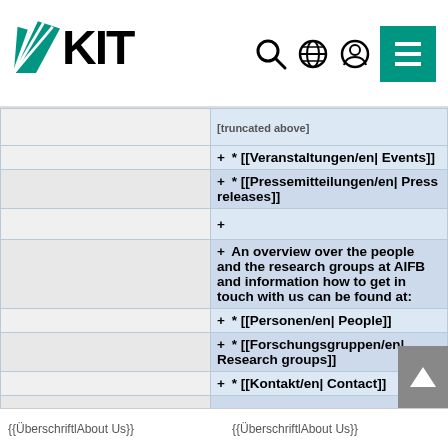KIT logo header with navigation icons
+ * [[Veranstaltungen/en| Events]]
+ * [[Pressemitteilungen/en| Press releases]]
+
+ An overview over the people and the research groups at AIFB and information how to get in touch with us can be found at:
+ * [[Personen/en| People]]
+ * [[Forschungsgruppen/en| Research groups]]
+ * [[Kontakt/en| Contact]]
+
+ <!--
{{ÜberschriftlAbout Us}}   {{ÜberschriftlAbout Us}}